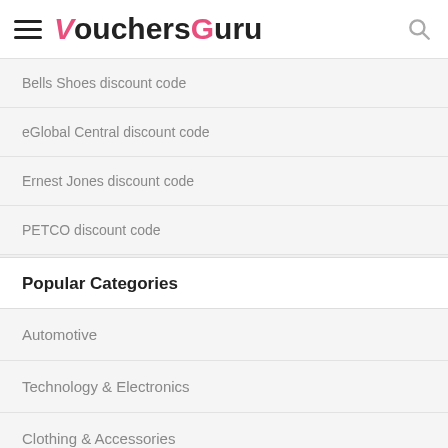VouchersGuru
Bells Shoes discount code
eGlobal Central discount code
Ernest Jones discount code
PETCO discount code
Popular Categories
Automotive
Technology & Electronics
Clothing & Accessories
Mobile, TV & Broadband
Travel
Sports & Outdoors